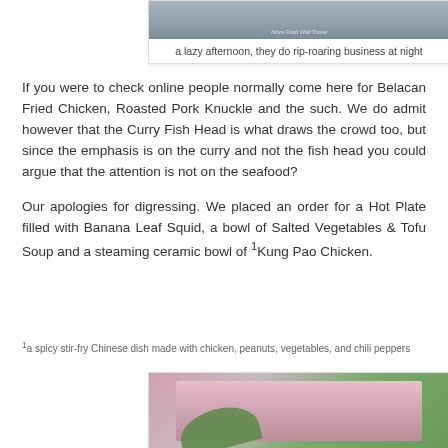[Figure (photo): Photo of a restaurant or hawker stall setting with wooden floor, appearing quiet in the afternoon]
a lazy afternoon, they do rip-roaring business at night
If you were to check online people normally come here for Belacan Fried Chicken, Roasted Pork Knuckle and the such. We do admit however that the Curry Fish Head is what draws the crowd too, but since the emphasis is on the curry and not the fish head you could argue that the attention is not on the seafood?
Our apologies for digressing. We placed an order for a Hot Plate filled with Banana Leaf Squid, a bowl of Salted Vegetables & Tofu Soup and a steaming ceramic bowl of ¹Kung Pao Chicken.
¹a spicy stir-fry Chinese dish made with chicken, peanuts, vegetables, and chili peppers
[Figure (photo): Photo showing food items including what appears to be a tofu or white food item on a banana leaf on a pink/red plate]